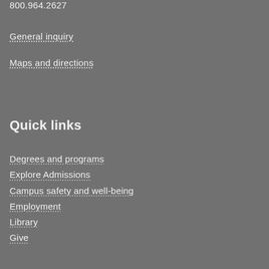800.964.2627
General inquiry
Maps and directions
Quick links
Degrees and programs
Explore Admissions
Campus safety and well-being
Employment
Library
Give